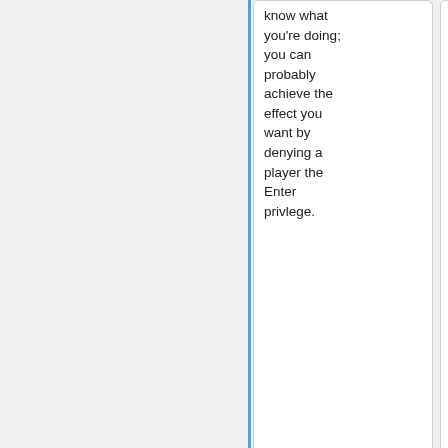know what you're doing; you can probably achieve the effect you want by denying a player the Enter privlege.
know what you're doing; you can probably achieve the effect you want by denying a player the Enter privlege.
== Enter ==
== Enter ==
Allows player to enter channel. Even without this privilege,
Allows player to enter channel. Even without this privilege,